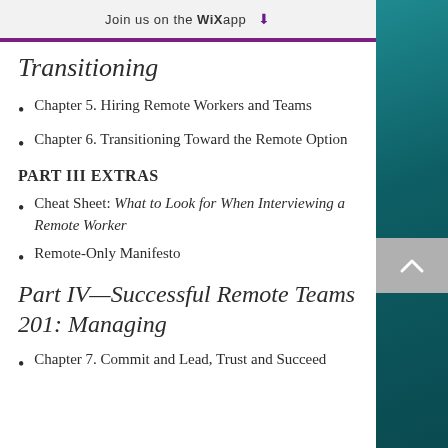Join us on the WiX app
Transitioning
Chapter 5. Hiring Remote Workers and Teams
Chapter 6. Transitioning Toward the Remote Option
PART III EXTRAS
Cheat Sheet: What to Look for When Interviewing a Remote Worker
Remote-Only Manifesto
Part IV—Successful Remote Teams 201: Managing
Chapter 7. Commit and Lead, Trust and Succeed